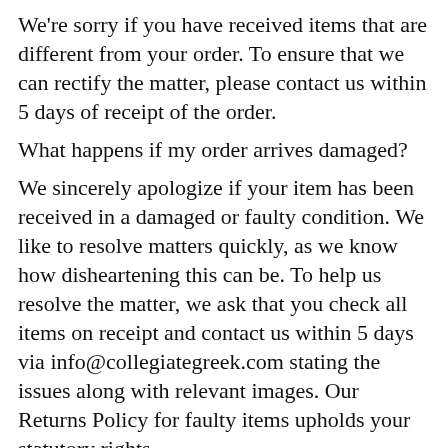We're sorry if you have received items that are different from your order. To ensure that we can rectify the matter, please contact us within 5 days of receipt of the order.
What happens if my order arrives damaged?
We sincerely apologize if your item has been received in a damaged or faulty condition.  We like to resolve matters quickly, as we know how disheartening this can be. To help us resolve the matter, we ask that you check all items on receipt and contact us within 5 days via info@collegiategreek.com stating the issues along with relevant images.  Our Returns Policy for faulty items upholds your statutory rights.
What happens if my order is delayed or lost in transit?
We take every care to ensure that your order is shipped and received as per your request.  We also take great care to ensure that our delivery provider meets our high level of expectations. However, on very rare occasions items can be delayed or lost in transit.  We understand that this can be frustrating, therefore when your item is